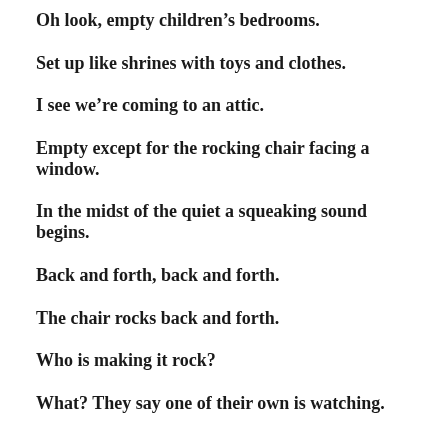Oh look, empty children’s bedrooms.
Set up like shrines with toys and clothes.
I see we’re coming to an attic.
Empty except for the rocking chair facing a window.
In the midst of the quiet a squeaking sound begins.
Back and forth, back and forth.
The chair rocks back and forth.
Who is making it rock?
What? They say one of their own is watching.